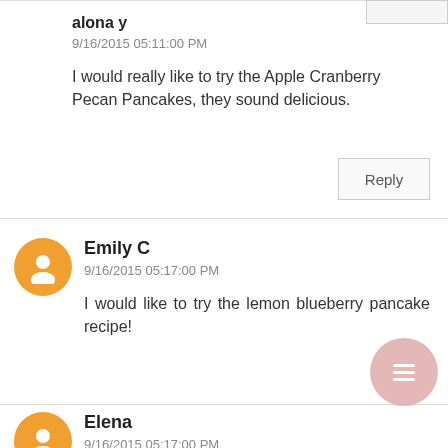alona y
9/16/2015 05:11:00 PM
I would really like to try the Apple Cranberry Pecan Pancakes, they sound delicious.
Reply
Emily C
9/16/2015 05:17:00 PM
I would like to try the lemon blueberry pancake recipe!
Elena
9/16/2015 05:17:00 PM